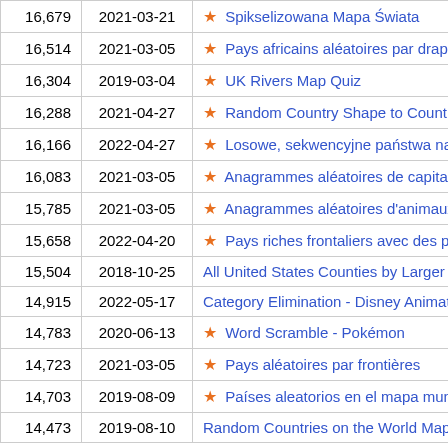| Count | Date | Title |
| --- | --- | --- |
| 16,679 | 2021-03-21 | ★ Spikselizowana Mapa Świata |
| 16,514 | 2021-03-05 | ★ Pays africains aléatoires par drapeau |
| 16,304 | 2019-03-04 | ★ UK Rivers Map Quiz |
| 16,288 | 2021-04-27 | ★ Random Country Shape to Country |
| 16,166 | 2022-04-27 | ★ Losowe, sekwencyjne państwa na map... |
| 16,083 | 2021-03-05 | ★ Anagrammes aléatoires de capitales |
| 15,785 | 2021-03-05 | ★ Anagrammes aléatoires d'animaux |
| 15,658 | 2022-04-20 | ★ Pays riches frontaliers avec des pays p... |
| 15,504 | 2018-10-25 | All United States Counties by Larger Prox... |
| 14,915 | 2022-05-17 | Category Elimination - Disney Animated M... |
| 14,783 | 2020-06-13 | ★ Word Scramble - Pokémon |
| 14,723 | 2021-03-05 | ★ Pays aléatoires par frontières |
| 14,703 | 2019-08-09 | ★ Países aleatorios en el mapa mundial |
| 14,473 | 2019-08-10 | Random Countries on the World Map Q... |